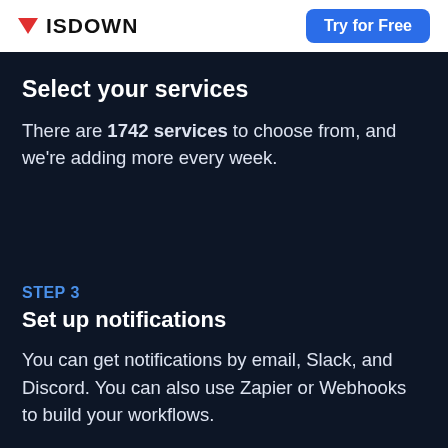ISDOWN | Try for Free
Select your services
There are 1742 services to choose from, and we're adding more every week.
STEP 3
Set up notifications
You can get notifications by email, Slack, and Discord. You can also use Zapier or Webhooks to build your workflows.